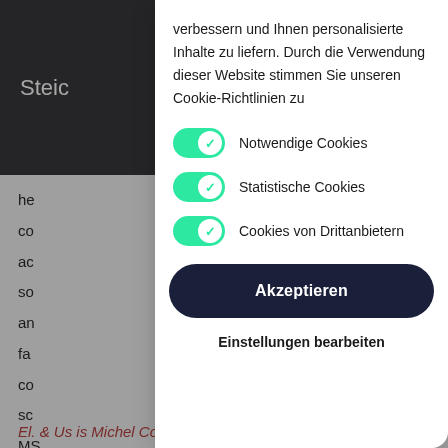Steic
he
co
ac
so
an
fa
co
sc
MS
in
co
an
verbessern und Ihnen personalisierte Inhalte zu liefern. Durch die Verwendung dieser Website stimmen Sie unseren Cookie-Richtlinien zu
Notwendige Cookies
Statistische Cookies
Cookies von Drittanbietern
Akzeptieren
Einstellungen bearbeiten
El. & Us is Michel Comte's proactive